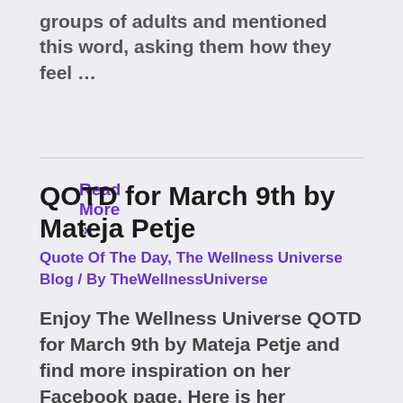groups of adults and mentioned this word, asking them how they feel …
Read More »
QOTD for March 9th by Mateja Petje
Quote Of The Day, The Wellness Universe Blog / By TheWellnessUniverse
Enjoy The Wellness Universe QOTD for March 9th by Mateja Petje and find more inspiration on her Facebook page. Here is her expanded thought… Many times we just want to point fingers and blame. When we blame, we also lose an opportunity to understand our part in the conflict. Yes, your spouse might push your